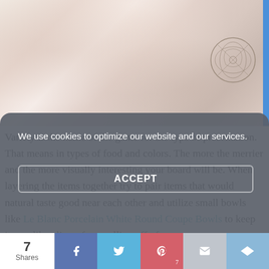[Figure (photo): Overhead/flatlay photo of decorative plates, bowls, and food items in pastel tones with a circular decorative logo/watermark in the upper right area]
Variety is the name of the game for the type of presentation. That means in types of food and colors. The more the merrier and the more visually interesting your board will be. When layering the items together try to pair items that would natural taste good near each other and utilize small bowls like Le Blanc Porcelain White Round Coupe Bowls to keep items, like olives, from rolling off of
We use cookies to optimize our website and our services.
ACCEPT
7 Shares